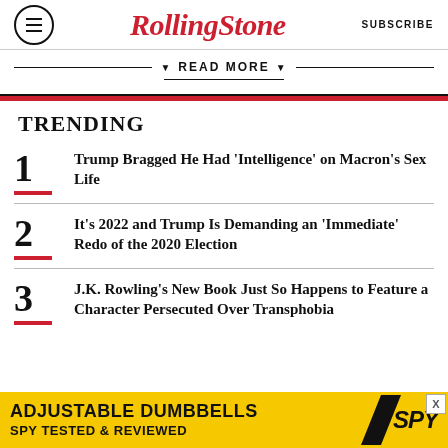Rolling Stone  SUBSCRIBE
▼ READ MORE ▼
TRENDING
1  Trump Bragged He Had 'Intelligence' on Macron's Sex Life
2  It's 2022 and Trump Is Demanding an 'Immediate' Redo of the 2020 Election
3  J.K. Rowling's New Book Just So Happens to Feature a Character Persecuted Over Transphobia
[Figure (other): Advertisement banner: ADJUSTABLE DUMBBELLS SPY TESTED & REVIEWED — SPY logo on yellow background]